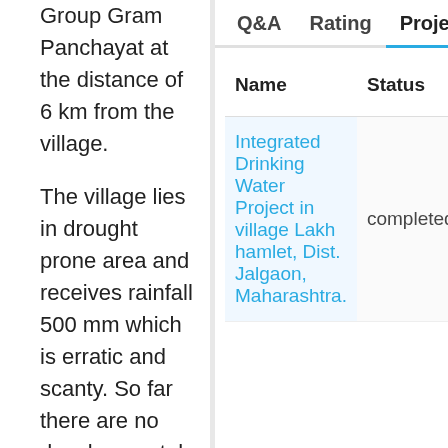Group Gram Panchayat at the distance of 6 km from the village.
The village lies in drought prone area and receives rainfall 500 mm which is erratic and scanty. So far there are no developmental activities initiated in village as the village is neglected by the local Gram Panchayat and
| Name | Status | Co Da |
| --- | --- | --- |
| Integrated Drinking Water Project in village Lakh hamlet, Dist. Jalgaon, Maharashtra. | completed | De |